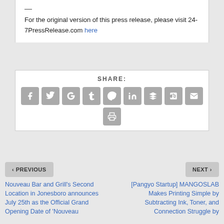— For the original version of this press release, please visit 24-7PressRelease.com here
SHARE:
[Figure (infographic): Row of social media share icon buttons: Facebook, Twitter, Google+, Tumblr, Pinterest, LinkedIn, Buffer, StumbleUpon, Email, and a Print button below]
< PREVIOUS
NEXT >
Nouveau Bar and Grill's Second Location in Jonesboro announces July 25th as the Official Grand Opening Date of 'Nouveau
[Pangyo Startup] MANGOSLAB Makes Printing Simple by Subtracting Ink, Toner, and Connection Struggle by